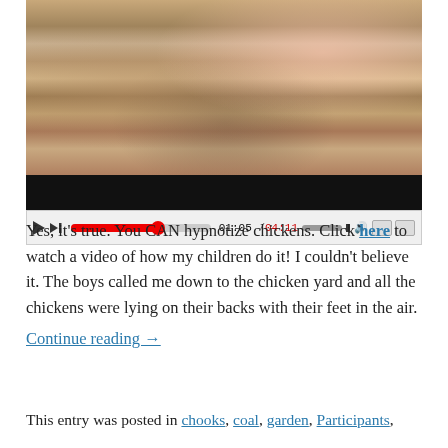[Figure (screenshot): Video player showing a child holding a chicken on straw/hay ground. The video player shows a progress bar at 01:05 of 04:11 total duration, with playback controls including play button, skip button, progress bar (red, ~62% complete), timestamp, volume bar, speaker icon, and fullscreen buttons.]
Yes, it's true. You CAN hypnotize chickens. Click here to watch a video of how my children do it! I couldn't believe it. The boys called me down to the chicken yard and all the chickens were lying on their backs with their feet in the air. Continue reading →
This entry was posted in chooks, coal, garden, Participants,